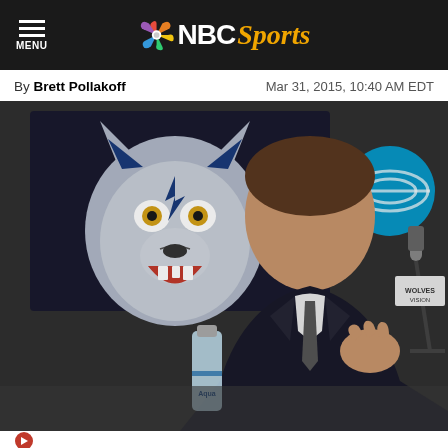NBC Sports navigation bar
By Brett Pollakoff   Mar 31, 2015, 10:40 AM EDT
[Figure (photo): A man in a dark suit and tie speaks at a press conference podium with a Minnesota Timberwolves logo banner in the background and an AT&T logo visible to the right. A microphone labeled 'WOLVES VISION' and a water bottle are on the table in front of him.]